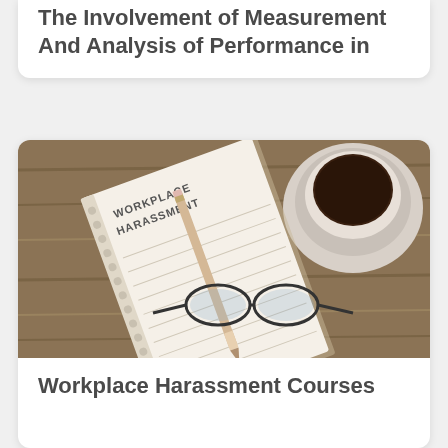The Involvement of Measurement And Analysis of Performance in
[Figure (photo): A photo of a wooden desk with a spiral notebook that has WORKPLACE HARASSMENT written on it, a pencil resting on the notebook, a pair of glasses, and a white coffee cup and saucer.]
Workplace Harassment Courses